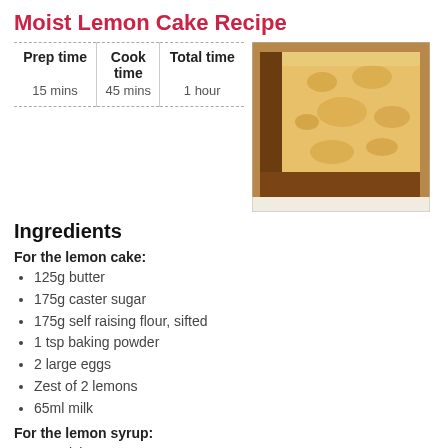Moist Lemon Cake Recipe
| Prep time | Cook time | Total time |
| --- | --- | --- |
| 15 mins | 45 mins | 1 hour |
[Figure (photo): Close-up photo of a slice of golden-brown moist lemon cake on a white plate]
Ingredients
For the lemon cake:
125g butter
175g caster sugar
175g self raising flour, sifted
1 tsp baking powder
2 large eggs
Zest of 2 lemons
65ml milk
For the lemon syrup:
150g icing sugar
Juice of 2 lemons (about 50ml)